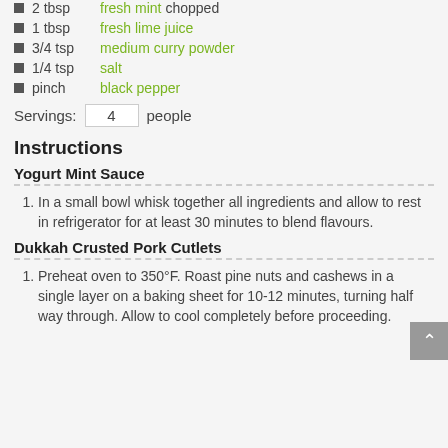2 tbsp fresh mint chopped
1 tbsp fresh lime juice
3/4 tsp medium curry powder
1/4 tsp salt
pinch black pepper
Servings: 4 people
Instructions
Yogurt Mint Sauce
In a small bowl whisk together all ingredients and allow to rest in refrigerator for at least 30 minutes to blend flavours.
Dukkah Crusted Pork Cutlets
Preheat oven to 350°F. Roast pine nuts and cashews in a single layer on a baking sheet for 10-12 minutes, turning half way through. Allow to cool completely before proceeding.